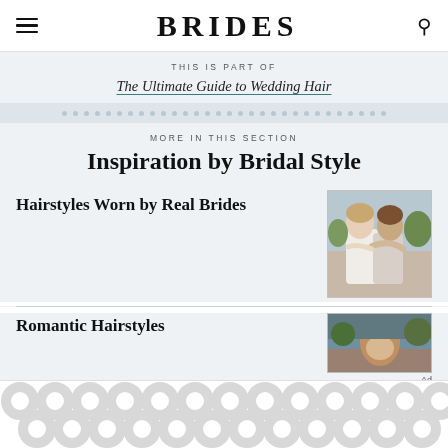BRIDES
THIS IS PART OF
The Ultimate Guide to Wedding Hair
MORE IN THIS SECTION
Inspiration by Bridal Style
Hairstyles Worn by Real Brides
[Figure (photo): Two women (brides) embracing and kissing, outdoor setting]
Romantic Hairstyles
[Figure (photo): Close-up of woman with updo hairstyle, outdoor background]
[Figure (other): Advertisement banner with decorative circular pattern in light gray]